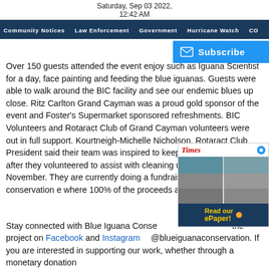Saturday, Sep 03 2022, 12:42 AM
Community Notices  Law Enforcement  Government  Hurricane Watch  CO…
Over 150 guests attended the event enjoying activities such as Iguana Scientist for a day, face painting and feeding the blue iguanas. Guests were able to walk around the BIC facility and see our endemic blues up close. Ritz Carlton Grand Cayman was a proud gold sponsor of the event and Foster's Supermarket sponsored refreshments. BIC Volunteers and Rotaract Club of Grand Cayman volunteers were out in full support. Kourtneigh-Michelle Nicholson, Rotaract Club President said their team was inspired to keep working with BIC after they volunteered to assist with cleaning up the facility last November. They are currently doing a fundraiser for the conservation effort where 100% of the proceeds are for Blue Iguanas.
Stay connected with Blue Iguana Conservation by following the project on Facebook and Instagram @blueiguanaconservation. If you are interested in supporting our work, whether through a monetary donation